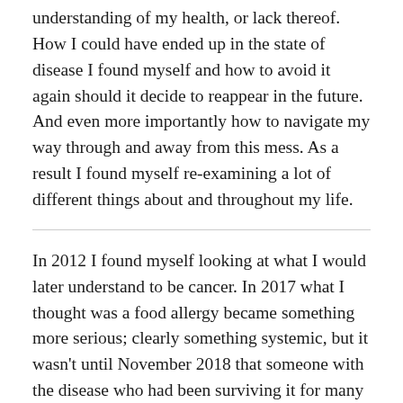understanding of my health, or lack thereof. How I could have ended up in the state of disease I found myself and how to avoid it again should it decide to reappear in the future. And even more importantly how to navigate my way through and away from this mess. As a result I found myself re-examining a lot of different things about and throughout my life.
In 2012 I found myself looking at what I would later understand to be cancer. In 2017 what I thought was a food allergy became something more serious; clearly something systemic, but it wasn't until November 2018 that someone with the disease who had been surviving it for many years looked right at me and corrected my wrong thinking. At that point I consulted with an oncologist and learned how to better manage my diagnosis. Fortunately the lifestyle and dietary changes I made in 2017 were paying off